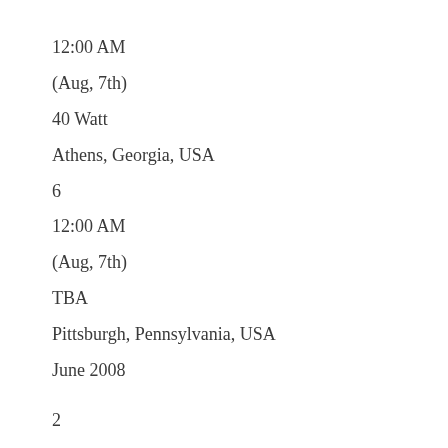12:00 AM
(Aug, 7th)
40 Watt
Athens, Georgia, USA
6
12:00 AM
(Aug, 7th)
TBA
Pittsburgh, Pennsylvania, USA
June 2008
2
12:00 PM
Uncle Pleasant's
Louisville, Kentucky, USA